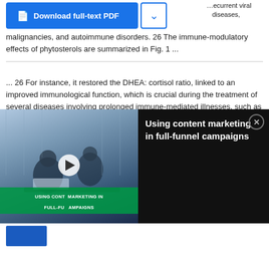[Figure (screenshot): Download full-text PDF button (blue) with chevron dropdown button beside it, and partial text visible top-right showing recurrent viral diseases context]
malignancies, and autoimmune disorders. 26 The immune-modulatory effects of phytosterols are summarized in Fig. 1 ...
... 26 For instance, it restored the DHEA: cortisol ratio, linked to an improved immunological function, which is crucial during the treatment of several diseases involving prolonged immune-mediated illnesses, such as recurrent viral diseases, TB, rheumatoid arthritis, allergies, malignancies, and autoimmune disorders. 26 The immune-modulatory effects of phytosterols are
[Figure (screenshot): Video overlay advertisement showing 'Using content marketing in full-funnel campaigns' with a thumbnail of people in an office and a green banner text, play button, and close (X) button]